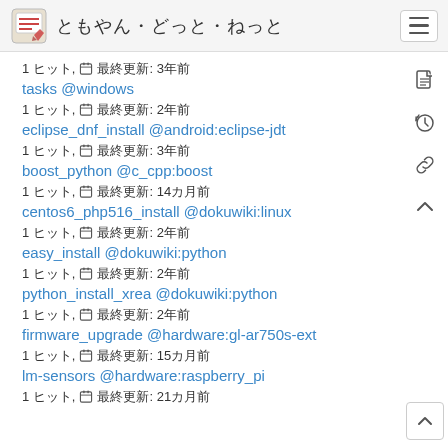ともやん・どっと・ねっと
1 ヒット, 📅 最終更新: 3年前
tasks @windows
1 ヒット, 📅 最終更新: 2年前
eclipse_dnf_install @android:eclipse-jdt
1 ヒット, 📅 最終更新: 3年前
boost_python @c_cpp:boost
1 ヒット, 📅 最終更新: 14カ月前
centos6_php516_install @dokuwiki:linux
1 ヒット, 📅 最終更新: 2年前
easy_install @dokuwiki:python
1 ヒット, 📅 最終更新: 2年前
python_install_xrea @dokuwiki:python
1 ヒット, 📅 最終更新: 2年前
firmware_upgrade @hardware:gl-ar750s-ext
1 ヒット, 📅 最終更新: 15カ月前
lm-sensors @hardware:raspberry_pi
1 ヒット, 📅 最終更新: 21カ月前